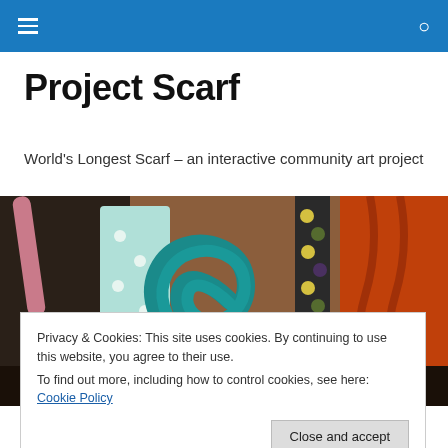Navigation bar with menu and search icons
Project Scarf
World's Longest Scarf – an interactive community art project
[Figure (photo): Close-up photograph of colorful crocheted yarn pieces arranged together, showing teal, white, pink, black, green, orange and multicolored sections]
Privacy & Cookies: This site uses cookies. By continuing to use this website, you agree to their use.
To find out more, including how to control cookies, see here: Cookie Policy
[Close and accept]